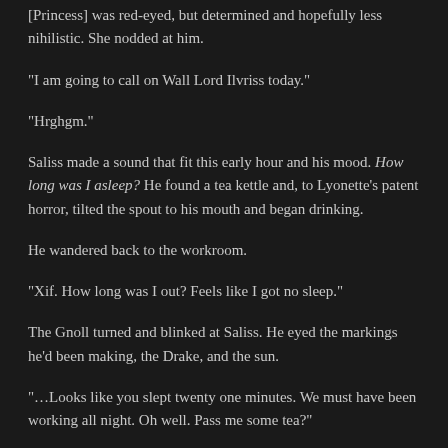[Princess] was red-eyed, but determined and hopefully less nihilistic. She nodded at him.
“I am going to call on Wall Lord Ilvriss today.”
“Hrghgm.”
Saliss made a sound that fit this early hour and his mood. How long was I asleep? He found a tea kettle and, to Lyonette’s patent horror, tilted the spout to his mouth and began drinking.
He wandered back to the workroom.
“Xif. How long was I out? Feels like I got no sleep.”
The Gnoll turned and blinked at Saliss. He eyed the markings he’d been making, the Drake, and the sun.
“…Looks like you slept twenty one minutes. We must have been working all night. Oh well. Pass me some tea?”